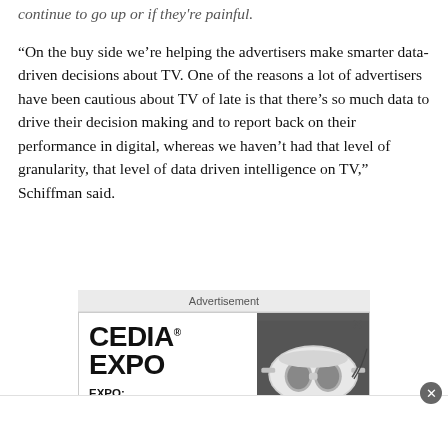continue to go up or if they're painful.
“On the buy side we’re helping the advertisers make smarter data-driven decisions about TV. One of the reasons a lot of advertisers have been cautious about TV of late is that there’s so much data to drive their decision making and to report back on their performance in digital, whereas we haven’t had that level of granularity, that level of data driven intelligence on TV,” Schiffman said.
[Figure (other): Advertisement banner for CEDIA EXPO. Shows CEDIA EXPO logo text on the left and a VR headset image on the right. Text reads: EXPO: SEPT 29 - OCT 1. Has a close button (X) in the top right corner.]